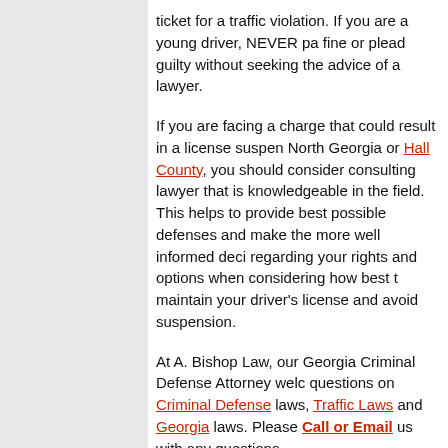ticket for a traffic violation. If you are a young driver, NEVER pay a fine or plead guilty without seeking the advice of a lawyer.
If you are facing a charge that could result in a license suspension in North Georgia or Hall County, you should consider consulting a lawyer that is knowledgeable in the field. This helps to provide the best possible defenses and make the more well informed decisions regarding your rights and options when considering how best to maintain your driver's license and avoid suspension.
At A. Bishop Law, our Georgia Criminal Defense Attorney welcomes questions on Criminal Defense laws, Traffic Laws and Georgia laws. Please Call or Email us with any questions.
About the attorney: Anne Bishop is a Georgia Lawyer with A. Bishop Law in Gainesville, Georgia and handles various DUI / DWI, Marijuana Arrests and other Georgia Criminal Defense matters. The law office of A. Bishop Law can assist clients throughout Georgia including: Hall County (Gainesville, Oakwood, Flowery Branch), Jackson County (Jefferson, Braselton) White